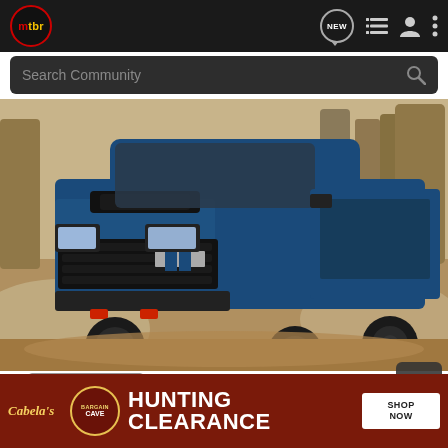mtbr — navigation bar with NEW, list, profile, and menu icons
Search Community
[Figure (photo): Blue Chevrolet Silverado ZR2 pickup truck driving off-road on dusty terrain with trees in background]
Learn More.
[Figure (advertisement): Cabela's Bargain Cave Hunting Clearance — SHOP NOW advertisement banner]